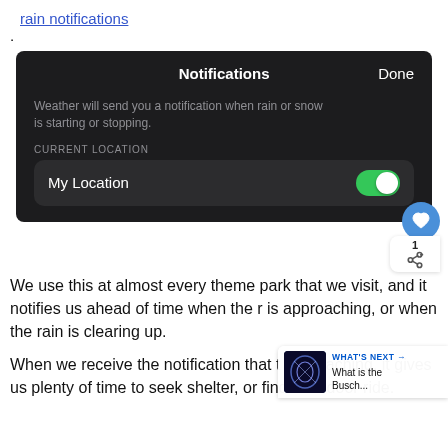rain notifications.
[Figure (screenshot): iOS Notifications settings screen showing 'Notifications' title with 'Done' button, description text 'Weather will send you a notification when rain or snow is starting or stopping.', CURRENT LOCATION section with My Location toggle switched ON (green).]
We use this at almost every theme park that we visit, and it notifies us ahead of time when the r is approaching, or when the rain is clearing up.
When we receive the notification that the rain is approaching, it gives us plenty of time to seek shelter, or find an indoor ride.